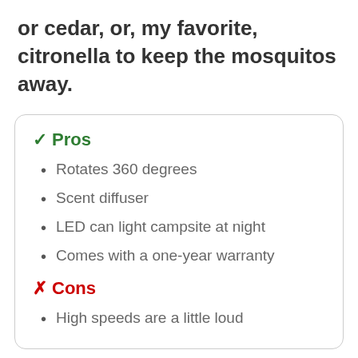or cedar, or, my favorite, citronella to keep the mosquitos away.
✓ Pros
Rotates 360 degrees
Scent diffuser
LED can light campsite at night
Comes with a one-year warranty
✗ Cons
High speeds are a little loud